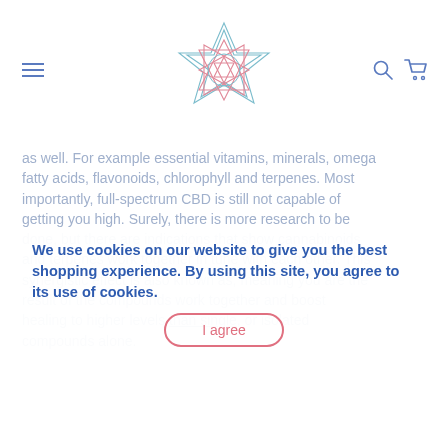[Figure (logo): Geometric crystal/flower of life logo made of overlapping triangles and star shapes in pink and teal/blue gradient lines]
as well. For example essential vitamins, minerals, omega fatty acids, flavonoids, chlorophyll and terpenes. Most importantly, full-spectrum CBD is still not capable of getting you high. Surely, there is more research to be done, but there are indications that show cannabinoids and terpenes work together in tune with each other. This synergistic effect is also known as, meaning you are the result of the compounds work together and boost healing to higher levels than single, or isolated compounds alone.
We use cookies on our website to give you the best shopping experience. By using this site, you agree to its use of cookies.
I agree